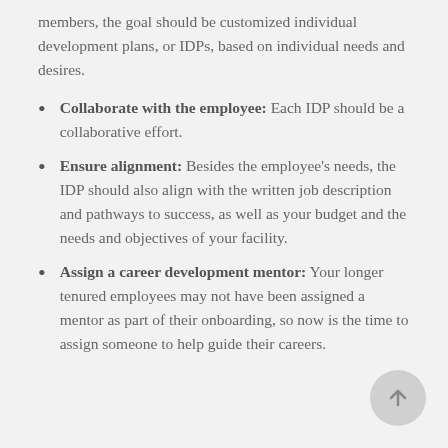members, the goal should be customized individual development plans, or IDPs, based on individual needs and desires.
Collaborate with the employee: Each IDP should be a collaborative effort.
Ensure alignment: Besides the employee's needs, the IDP should also align with the written job description and pathways to success, as well as your budget and the needs and objectives of your facility.
Assign a career development mentor: Your longer tenured employees may not have been assigned a mentor as part of their onboarding, so now is the time to assign someone to help guide their careers.